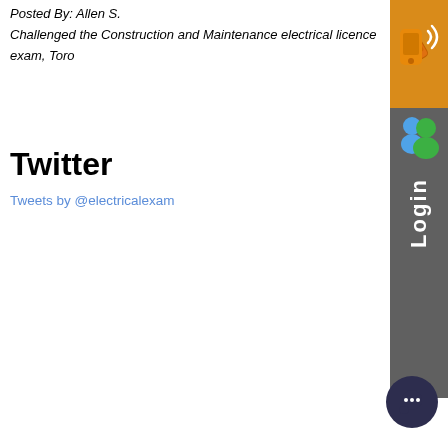Posted By: Allen S.
Challenged the Construction and Maintenance electrical licence exam, Toro
Twitter
Tweets by @electricalexam
[Figure (other): Orange phone/call widget on right sidebar]
[Figure (other): Gray Login sidebar widget with user icons and Login text]
[Figure (other): Dark circular chat bubble icon at bottom right]